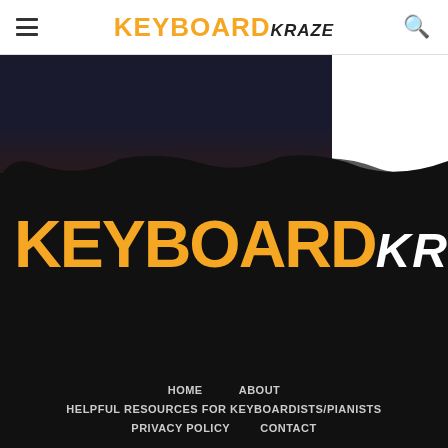KEYBOARD KRAZE
[Figure (screenshot): Dark banner image with a red button element visible at top]
[Figure (logo): Keyboard Kraze logo large on black/dark brushstroke background — KEYBOARD in orange bold, KRAZE in white italic]
HOME   ABOUT   HELPFUL RESOURCES FOR KEYBOARDISTS/PIANISTS   PRIVACY POLICY   CONTACT